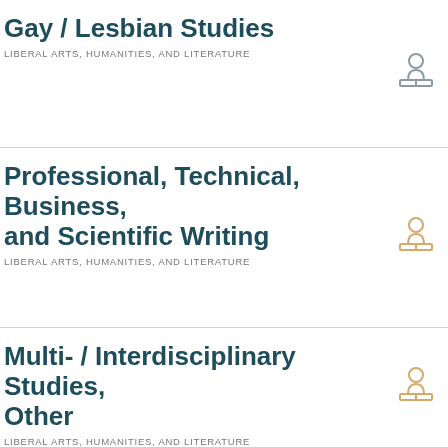Gay / Lesbian Studies
LIBERAL ARTS, HUMANITIES, AND LITERATURE
Professional, Technical, Business, and Scientific Writing
LIBERAL ARTS, HUMANITIES, AND LITERATURE
Multi- / Interdisciplinary Studies, Other
LIBERAL ARTS, HUMANITIES, AND LITERATURE